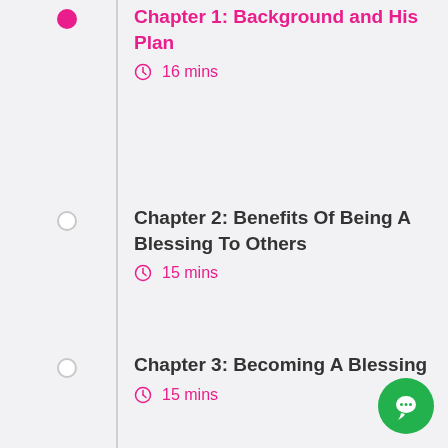Chapter 1: Background and His Plan
⏱ 16 mins
Chapter 2: Benefits Of Being A Blessing To Others
⏱ 15 mins
Chapter 3: Becoming A Blessing
⏱ 15 mins
Chapter 4: Be A Blessing One Person At A Time
⏱ 12 mins